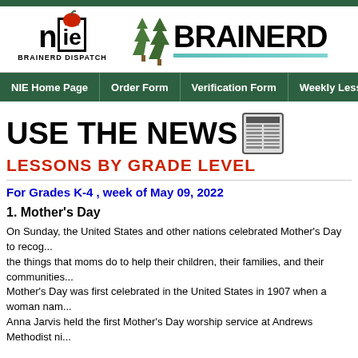[Figure (logo): NIE Online Brainerd Dispatch logo with apple icon, and Brainerd newspaper logo with pine trees]
NIE Home Page | Order Form | Verification Form | Weekly Lessons | Spons...
[Figure (logo): USE THE NEWS with newspaper icon graphic and LESSONS BY GRADE LEVEL subtitle in red]
For Grades K-4 , week of May 09, 2022
1. Mother's Day
On Sunday, the United States and other nations celebrated Mother's Day to recog... the things that moms do to help their children, their families, and their communities... Mother's Day was first celebrated in the United States in 1907 when a woman nam... Anna Jarvis held the first Mother's Day worship service at Andrews Methodist ni...